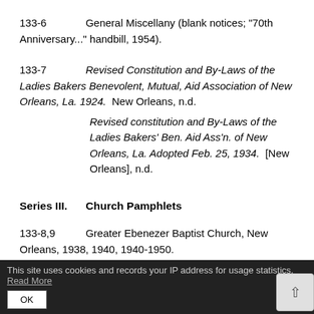133-6   General Miscellany (blank notices; "70th Anniversary..." handbill, 1954).
133-7   Revised Constitution and By-Laws of the Ladies Bakers Benevolent, Mutual, Aid Association of New Orleans, La. 1924.  New Orleans, n.d.

Revised constitution and By-Laws of the Ladies Bakers' Ben. Aid Ass'n. of New Orleans, La. Adopted Feb. 25, 1934.  [New Orleans], n.d.
Series III.    Church Pamphlets
133-8,9   Greater Ebenezer Baptist Church, New Orleans, 1938, 1940, 1940-1950.